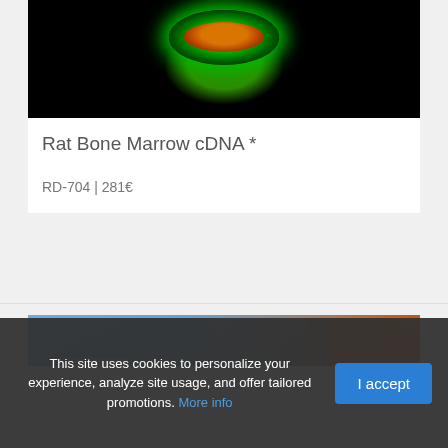[Figure (photo): Fluorescence microscopy image showing green and red/orange glowing structures against a black background, likely a cell or biological sample.]
Rat Bone Marrow cDNA *
RD-704 | 281€
[Figure (photo): Laboratory photo showing a scientist or technician in blue light environment using equipment, with orange containers/equipment on the right side.]
This site uses cookies to personalize your experience, analyze site usage, and offer tailored promotions. More info
I accept